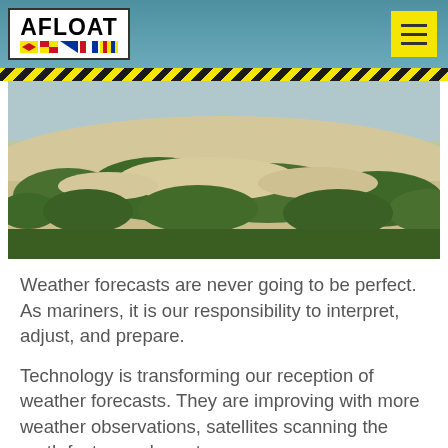AFLOAT
[Figure (photo): Coastal scene showing sandy ground with low green shrubs/vegetation, photographed from a low angle against a bright sky.]
Weather forecasts are never going to be perfect. As mariners, it is our responsibility to interpret, adjust, and prepare.
Technology is transforming our reception of weather forecasts. They are improving with more weather observations, satellites scanning the earth faster, and greater